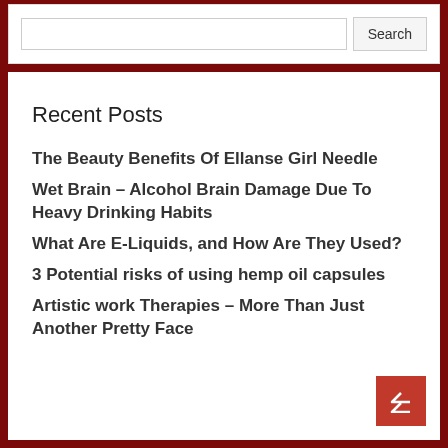Search
Recent Posts
The Beauty Benefits Of Ellanse Girl Needle
Wet Brain – Alcohol Brain Damage Due To Heavy Drinking Habits
What Are E-Liquids, and How Are They Used?
3 Potential risks of using hemp oil capsules
Artistic work Therapies – More Than Just Another Pretty Face